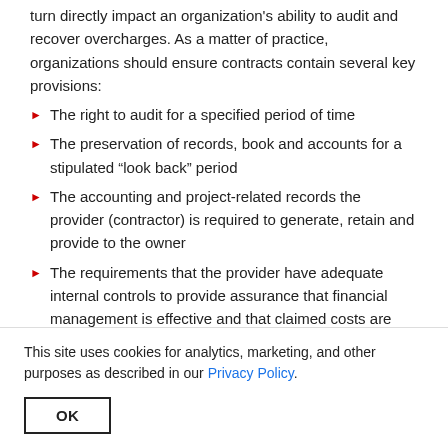turn directly impact an organization's ability to audit and recover overcharges. As a matter of practice, organizations should ensure contracts contain several key provisions:
The right to audit for a specified period of time
The preservation of records, book and accounts for a stipulated “look back” period
The accounting and project-related records the provider (contractor) is required to generate, retain and provide to the owner
The requirements that the provider have adequate internal controls to provide assurance that financial management is effective and that claimed costs are reliable and supported
The specific costs that are subject to the audit and specific
This site uses cookies for analytics, marketing, and other purposes as described in our Privacy Policy.